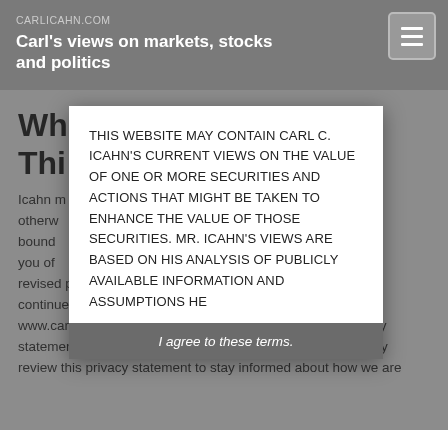CARLICAHN.COM
Carl's views on markets, stocks and politics
Wh
Thi
Icahn m... or otherwise... bound... notify you of... revised policy with the date it was r... continued use of our website and membership in www.carlicahn.com constitutes your agreement to this privacy statement and any updates. We encourage you to periodically review this privacy statement to stay informed about how we are
THIS WEBSITE MAY CONTAIN CARL C. ICAHN'S CURRENT VIEWS ON THE VALUE OF ONE OR MORE SECURITIES AND ACTIONS THAT MIGHT BE TAKEN TO ENHANCE THE VALUE OF THOSE SECURITIES. MR. ICAHN'S VIEWS ARE BASED ON HIS ANALYSIS OF PUBLICLY AVAILABLE INFORMATION AND ASSUMPTIONS HE
I agree to these terms.